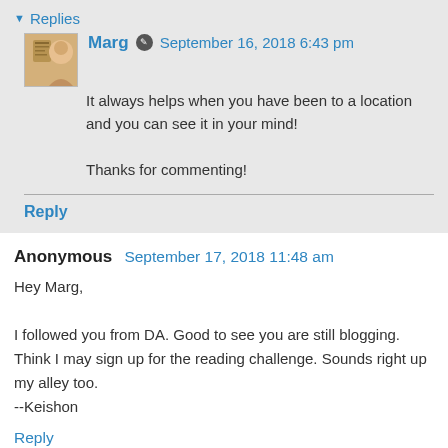▼ Replies
Marg ✎ September 16, 2018 6:43 pm
It always helps when you have been to a location and you can see it in your mind!

Thanks for commenting!
Reply
Anonymous September 17, 2018 11:48 am
Hey Marg,

I followed you from DA. Good to see you are still blogging. Think I may sign up for the reading challenge. Sounds right up my alley too.
--Keishon
Reply
▼ Replies